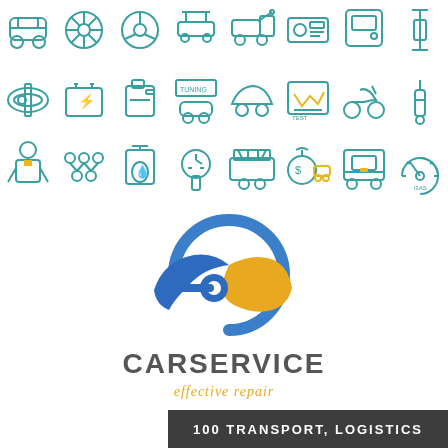[Figure (illustration): Grid of 24 car service and transport icons in teal/blue and orange outline style, arranged in 3 rows of 8 icons each. Icons include: car, fan/wheel, steering wheel, car lift, tow truck, car radio/stereo, car door, suspension; belt/chain, battery, fuel can, tuning sign with car, car side view, diagnostic chart, scooter, shock absorber; mechanic person, transmission/gearbox, oil container, tire gauge, car wash, money bag, delivery truck/bus, speedometer gauge.]
[Figure (logo): CARSERVICE logo: stylized car shape in blue and yellow/gold forming a key shape with circular element, blue car body on left, gold/yellow car body on right, circular swoosh around them.]
CARSERVICE
effective repair
100 TRANSPORT, LOGISTICS